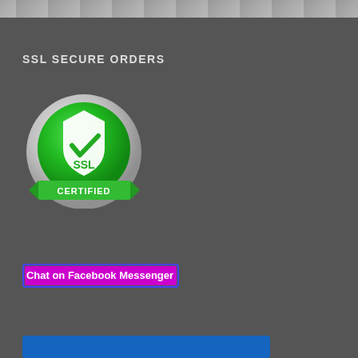[Figure (photo): Partial photo strip at top of page showing people, cropped]
SSL SECURE ORDERS
[Figure (illustration): SSL Certified badge - green circular button with white shield, checkmark, SSL text, and green ribbon banner reading CERTIFIED]
[Figure (illustration): Chat on Facebook Messenger button - pink/magenta background with white text and blue border]
[Figure (illustration): Blue horizontal bar/button at bottom]